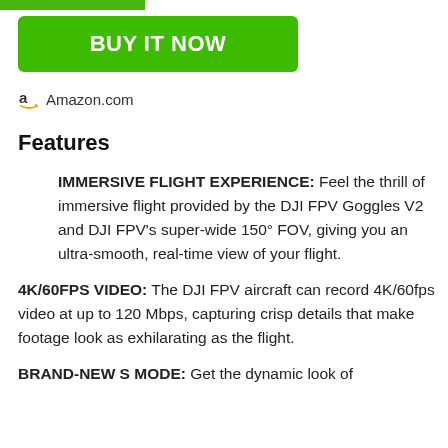[Figure (other): Green top bar partial]
BUY IT NOW
Amazon.com
Features
IMMERSIVE FLIGHT EXPERIENCE: Feel the thrill of immersive flight provided by the DJI FPV Goggles V2 and DJI FPV’s super-wide 150° FOV, giving you an ultra-smooth, real-time view of your flight.
4K/60FPS VIDEO: The DJI FPV aircraft can record 4K/60fps video at up to 120 Mbps, capturing crisp details that make footage look as exhilarating as the flight.
BRAND-NEW S MODE: Get the dynamic look of